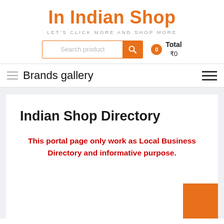In Indian Shop
LET'S CLICK MORE AND SHOP MORE
[Figure (screenshot): Search bar with orange search button and cart icon showing Total ₹0]
Brands gallery
Indian Shop Directory
This portal page only work as Local Business Directory and informative purpose.